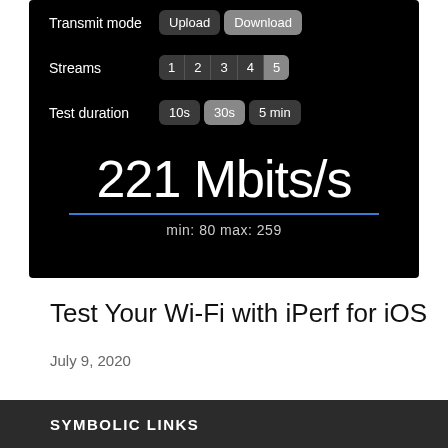[Figure (screenshot): iOS iPerf app screenshot showing transmit mode (Upload/Download), Streams (1-5, with 5 selected), Test duration (10s/30s/5min, with 30s selected), and a speed result of 221 Mbits/s with min: 80 max: 259]
Test Your Wi-Fi with iPerf for iOS
July 9, 2020
SYMBOLIC LINKS